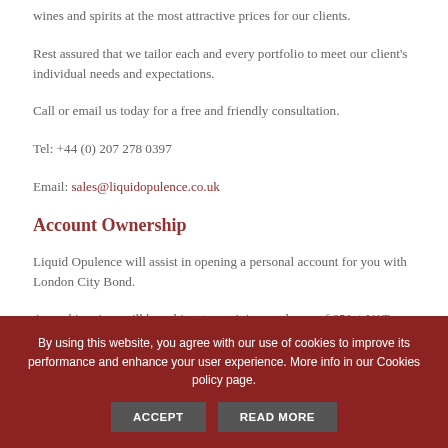Because of these relationships, we are able to source the finest wines and spirits at the most attractive prices for our clients.
Rest assured that we tailor each and every portfolio to meet our client's individual needs and expectations.
Call or email us today for a free and friendly consultation.
Tel: +44 (0) 207 278 0397
Email: sales@liquidopulence.co.uk
Account Ownership
Liquid Opulence will assist in opening a personal account for you with London City Bond.
Annual invoices will be subject to a minimum charge of £50 + VAT on up to two cases. Additional cases are charged at £19.44 + VAT
By using this website, you agree with our use of cookies to improve its performance and enhance your user experience. More info in our Cookies policy page.
ACCEPT
READ MORE